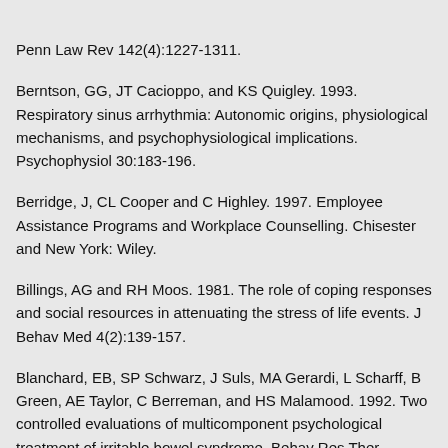Penn Law Rev 142(4):1227-1311.
Berntson, GG, JT Cacioppo, and KS Quigley. 1993. Respiratory sinus arrhythmia: Autonomic origins, physiological mechanisms, and psychophysiological implications. Psychophysiol 30:183-196.
Berridge, J, CL Cooper and C Highley. 1997. Employee Assistance Programs and Workplace Counselling. Chisester and New York: Wiley.
Billings, AG and RH Moos. 1981. The role of coping responses and social resources in attenuating the stress of life events. J Behav Med 4(2):139-157.
Blanchard, EB, SP Schwarz, J Suls, MA Gerardi, L Scharff, B Green, AE Taylor, C Berreman, and HS Malamood. 1992. Two controlled evaluations of multicomponent psychological treatment of irritable bowel syndrome. Behav Res Ther 30:175-189.